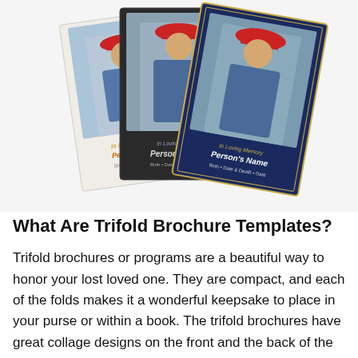[Figure (photo): Three trifold funeral brochure templates shown overlapping. Each features a photo of a man wearing a red hard hat and blue shirt. The templates vary in style: one white/cream, one dark/black, one navy blue. Each shows placeholder text 'Person's Name' with dates.]
What Are Trifold Brochure Templates?
Trifold brochures or programs are a beautiful way to honor your lost loved one. They are compact, and each of the folds makes it a wonderful keepsake to place in your purse or within a book. The trifold brochures have great collage designs on the front and the back of the program.
On each side of the 3 panels, you can add